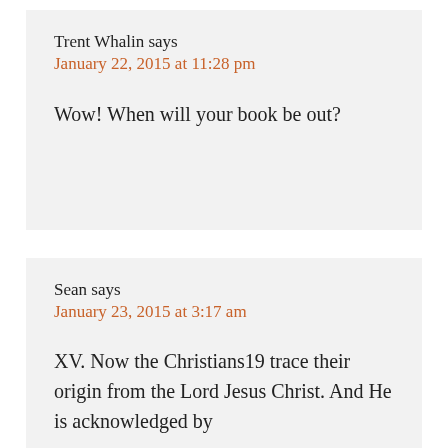Trent Whalin says
January 22, 2015 at 11:28 pm
Wow! When will your book be out?
Sean says
January 23, 2015 at 3:17 am
XV. Now the Christians19 trace their origin from the Lord Jesus Christ. And He is acknowledged by